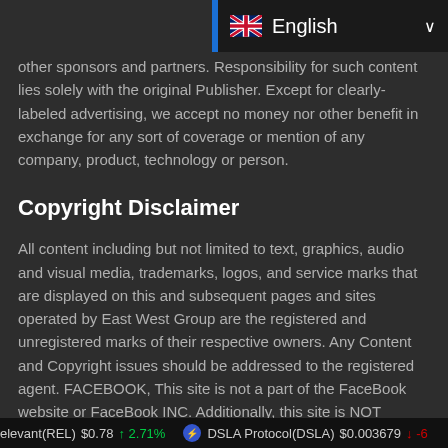[Figure (screenshot): Language selector dropdown showing English with UK flag and chevron]
other sponsors and partners. Responsibility for such content lies solely with the original Publisher. Except for clearly-labeled advertising, we accept no money nor other benefit in exchange for any sort of coverage or mention of any company, product, technology or person.
Copyright Disclaimer
All content including but not limited to text, graphics, audio and visual media, trademarks, logos, and service marks that are displayed on this and subsequent pages and sites operated by East West Group are the registered and unregistered marks of their respective owners. Any Content and Copyright issues should be addressed to the registered agent. FACEBOOK, This site is not a part of the FaceBook website or FaceBook INC. Additionally, this site is NOT endorsed by FaceBook in ANY WAY. FACEBOOK is a
elevant(REL) $0.78 ↑ 2.71%   DSLA Protocol(DSLA) $0.003679 ↓ -6